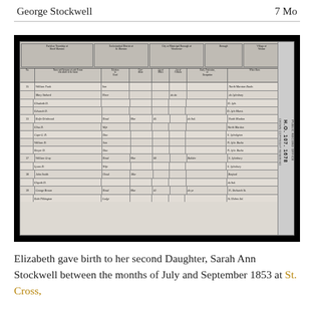George Stockwell   7 Mo
[Figure (photo): Scanned census record (HO 107 1678) showing handwritten entries for multiple households including William Gray and others, with columns for name, relation, condition, age, occupation, and birthplace.]
Elizabeth gave birth to her second Daughter, Sarah Ann Stockwell between the months of July and September 1853 at St. Cross,